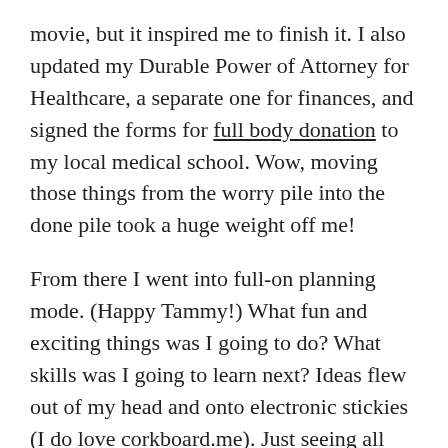movie, but it inspired me to finish it. I also updated my Durable Power of Attorney for Healthcare, a separate one for finances, and signed the forms for full body donation to my local medical school. Wow, moving those things from the worry pile into the done pile took a huge weight off me!
From there I went into full-on planning mode. (Happy Tammy!) What fun and exciting things was I going to do? What skills was I going to learn next? Ideas flew out of my head and onto electronic stickies (I do love corkboard.me). Just seeing all these fun and interesting things I came up with made me smile! I broke them down into tasks and scheduled them. Just as I don't learn well from e-courses, I don't tend to do things without a